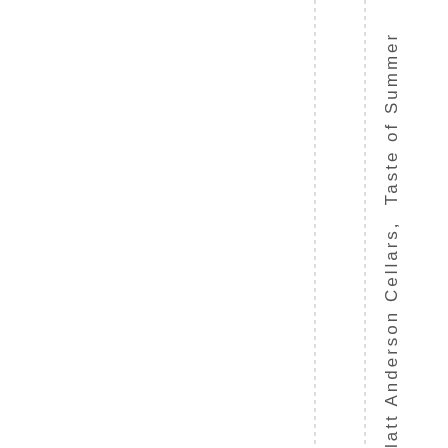latt Anderson Cellars, Taste of Summer